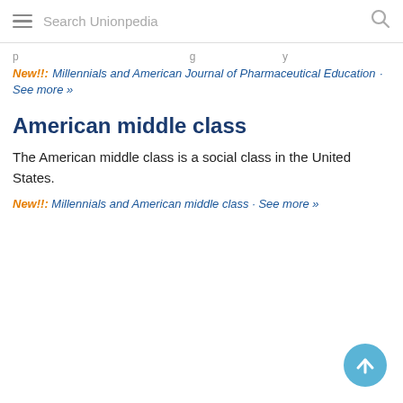Search Unionpedia
p...g...y
New!!: Millennials and American Journal of Pharmaceutical Education · See more »
American middle class
The American middle class is a social class in the United States.
New!!: Millennials and American middle class · See more »